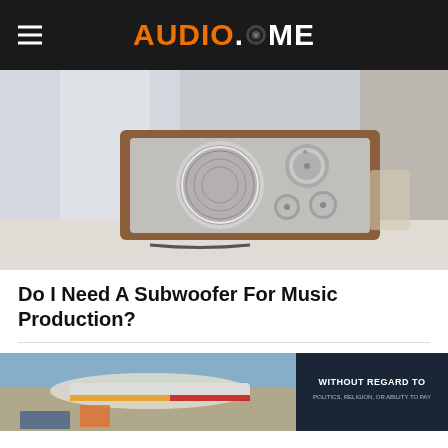AUDIO.DOME
[Figure (photo): Vintage-style desktop radio with wooden cabinet, circular speaker grille, and chrome knobs sitting on a white surface]
Do I Need A Subwoofer For Music Production?
[Figure (photo): Advertisement banner showing an airplane being loaded with cargo on the left, and a dark text box on the right reading WITHOUT REGARD TO with small text below]